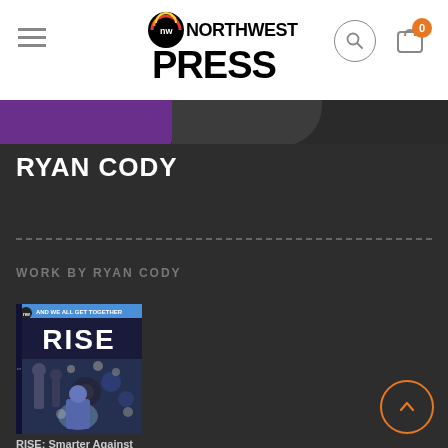NORTHWEST PRESS
RYAN CODY
WORK BY RYAN CODY
[Figure (illustration): Comic book cover for RISE: Smarter Against showing a sci-fi scene with robotic figures]
RISE: Smarter Against